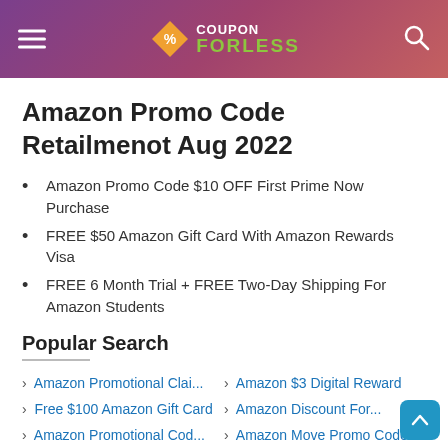COUPON FORLESS
Amazon Promo Code Retailmenot Aug 2022
Amazon Promo Code $10 OFF First Prime Now Purchase
FREE $50 Amazon Gift Card With Amazon Rewards Visa
FREE 6 Month Trial + FREE Two-Day Shipping For Amazon Students
Popular Search
› Amazon Promotional Clai...  › Amazon $3 Digital Reward
› Free $100 Amazon Gift Card  › Amazon Discount For...
› Amazon Promotional Cod...  › Amazon Move Promo Code